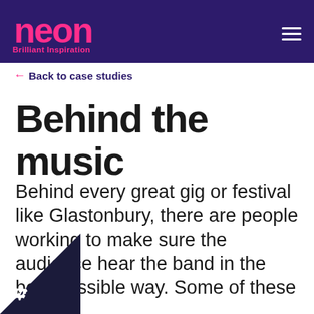neon Brilliant Inspiration
← Back to case studies
Behind the music
Behind every great gig or festival like Glastonbury, there are people working to make sure the audience hear the band in the best possible way. Some of these people